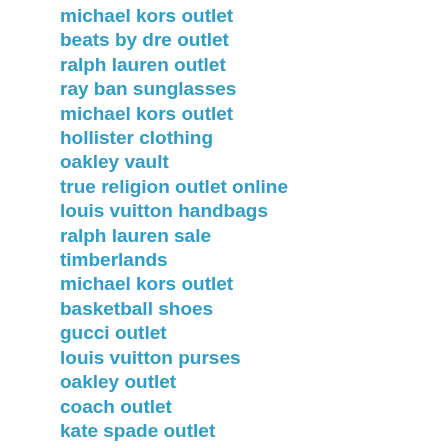michael kors outlet
beats by dre outlet
ralph lauren outlet
ray ban sunglasses
michael kors outlet
hollister clothing
oakley vault
true religion outlet online
louis vuitton handbags
ralph lauren sale
timberlands
michael kors outlet
basketball shoes
gucci outlet
louis vuitton purses
oakley outlet
coach outlet
kate spade outlet
air jordan shoes
coach outlet
lebron 12
oakley sunglasses
kate spade handbags